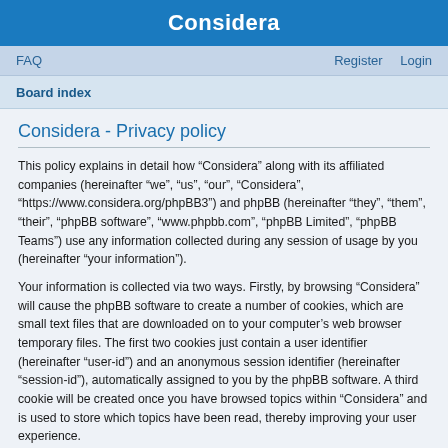Considera
FAQ   Register   Login
Board index
Considera - Privacy policy
This policy explains in detail how “Considera” along with its affiliated companies (hereinafter “we”, “us”, “our”, “Considera”, “https://www.considera.org/phpBB3”) and phpBB (hereinafter “they”, “them”, “their”, “phpBB software”, “www.phpbb.com”, “phpBB Limited”, “phpBB Teams”) use any information collected during any session of usage by you (hereinafter “your information”).
Your information is collected via two ways. Firstly, by browsing “Considera” will cause the phpBB software to create a number of cookies, which are small text files that are downloaded on to your computer’s web browser temporary files. The first two cookies just contain a user identifier (hereinafter “user-id”) and an anonymous session identifier (hereinafter “session-id”), automatically assigned to you by the phpBB software. A third cookie will be created once you have browsed topics within “Considera” and is used to store which topics have been read, thereby improving your user experience.
We may also create cookies external to the phpBB software whilst browsing “Considera”, though these are outside the scope of this document which is